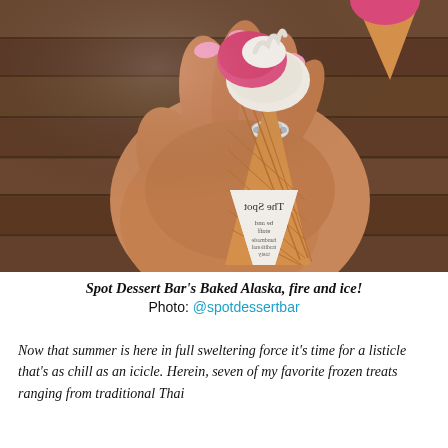[Figure (photo): A hand with pink nails and a silver ring holds a waffle ice cream cone with colorful scoops (pink/raspberry and cream). The cone has a printed paper wrapper with text. Background shows wooden planks and another ice cream cone partially visible at top right.]
Spot Dessert Bar's Baked Alaska, fire and ice!
Photo: @spotdessertbar
Now that summer is here in full sweltering force it's time for a listicle that's as chill as an icicle. Herein, seven of my favorite frozen treats ranging from traditional Thai